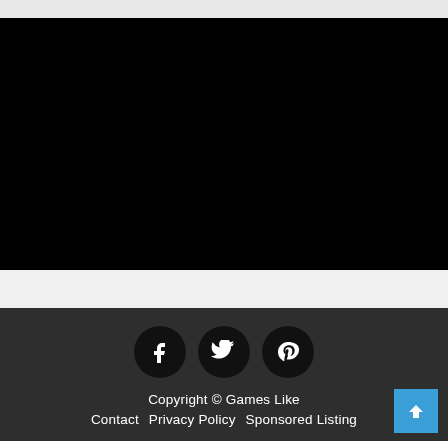[Figure (screenshot): Top navigation bar area, light gray background strip]
[Figure (screenshot): Large black content area (video or image placeholder)]
[Figure (screenshot): Light gray mid section strip below black area]
[Figure (screenshot): Dark footer with Facebook, Twitter, Pinterest social icons in black circles]
Copyright © Games Like
Contact   Privacy Policy   Sponsored Listing